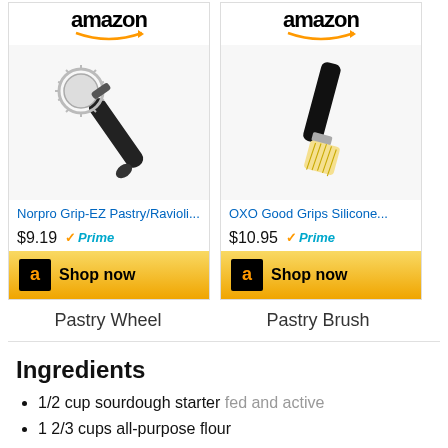[Figure (screenshot): Amazon product card for Norpro Grip-EZ Pastry/Ravioli... priced at $9.19 with Prime badge and Shop now button]
[Figure (screenshot): Amazon product card for OXO Good Grips Silicone... priced at $10.95 with Prime badge and Shop now button]
Pastry Wheel
Pastry Brush
Ingredients
1/2 cup sourdough starter fed and active
1 2/3 cups all-purpose flour
1/3 cup water
2 1/2 tablespoons granulated sugar
2 tablespoons butter room temperature
1 ...